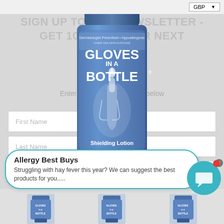[Figure (screenshot): GBP currency selector dropdown in top-right corner]
SIGN UP TO OUR NEWSLETTER - GET 10% OFF YOUR NEXT ORDER
Enter your name and email below
[Figure (photo): Gloves In A Bottle Shielding Lotion tube product image, blue color, 100ml / 3.4 fl oz]
First Name
Last Name
Email
Allergy Best Buys
Struggling with hay fever this year? We can suggest the best products for you.....
[Figure (photo): Three small product thumbnails at the bottom of the page]